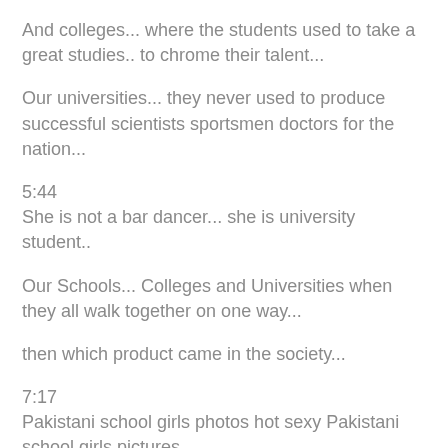And colleges... where the students used to take a great studies.. to chrome their talent...
Our universities... they never used to produce successful scientists sportsmen doctors for the nation...
5:44
She is not a bar dancer... she is university student..
Our Schools... Colleges and Universities when they all walk together on one way...
then which product came in the society...
7:17
Pakistani school girls photos hot sexy Pakistani school girls pictures
7:23
Drug use in girls' colleges | Students' sexual abuse